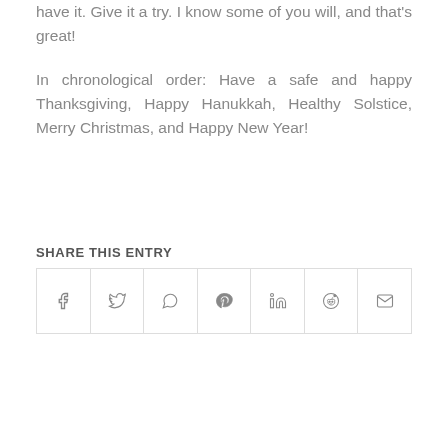have it. Give it a try. I know some of you will, and that's great!
In chronological order: Have a safe and happy Thanksgiving, Happy Hanukkah, Healthy Solstice, Merry Christmas, and Happy New Year!
SHARE THIS ENTRY
[Figure (other): Social share buttons row with icons for Facebook, Twitter, WhatsApp, Pinterest, LinkedIn, Reddit, and Email]